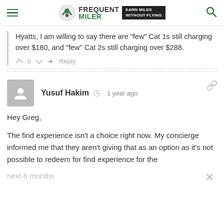Frequent Miler — EARN MILES WITHOUT FLYING
Hyatts, I am willing to say there are "few" Cat 1s still charging over $180, and "few" Cat 2s still charging over $288.
0  Reply
Yusuf Hakim  1 year ago
Hey Greg,
The find experience isn't a choice right now. My concierge informed me that they aren't giving that as an option as it's not possible to redeem for find experience for the next 6 months